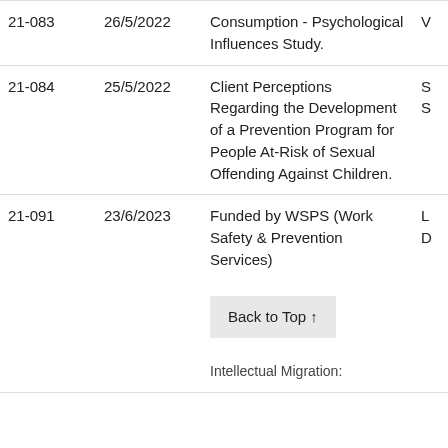| ID | Date | Description | Extra |
| --- | --- | --- | --- |
| 21-083 | 26/5/2022 | Consumption - Psychological Influences Study. | V... |
| 21-084 | 25/5/2022 | Client Perceptions Regarding the Development of a Prevention Program for People At-Risk of Sexual Offending Against Children. | S S |
| 21-091 | 23/6/2023 | Funded by WSPS (Work Safety & Prevention Services) | L D |